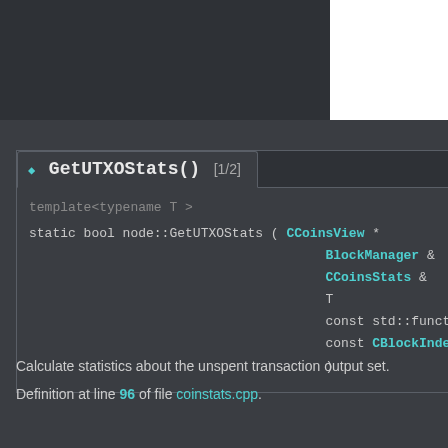GetUTXOStats() [1/2]
template<typename T >
[Figure (screenshot): Code block showing function signature: static bool node::GetUTXOStats( CCoinsView * BlockManager & CCoinsStats & T const std::function const CBlockIndex * )]
Calculate statistics about the unspent transaction output set.
Definition at line 96 of file coinstats.cpp.